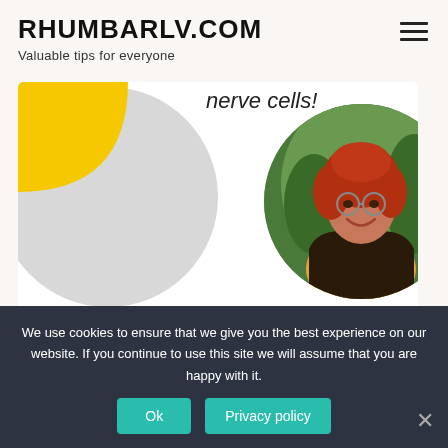RHUMBARLV.COM
Valuable tips for everyone
nerve cells!
[Figure (photo): Circular portrait photo of a woman with red hair wearing a yellow top and dark floral jacket, standing outdoors]
Emma R.
★★★★★
ORDER
We use cookies to ensure that we give you the best experience on our website. If you continue to use this site we will assume that you are happy with it.
Ok
Privacy policy